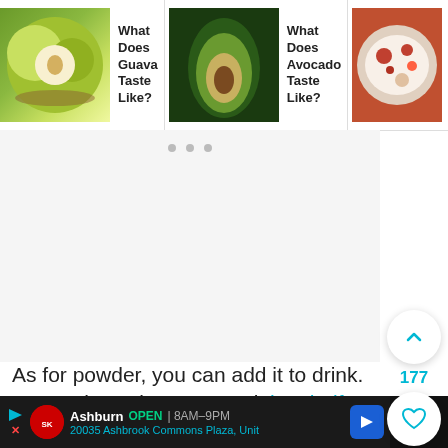[Figure (screenshot): Navigation card: image of guava with text 'What Does Guava Taste Like?']
[Figure (screenshot): Navigation card: image of avocado with text 'What Does Avocado Taste Like?']
[Figure (screenshot): Navigation card: image of fish sauce bowl with text 'What Does Fish Sauce Taste Like?']
[Figure (screenshot): Advertisement area with dot indicators, blank white space]
As for powder, you can add it to drink. Do you know it can extend the shelf life of any tea, for example turmeric or ginger ones? Also, since panda paste and extract taste just like vanilla, you
[Figure (screenshot): Bottom advertisement banner: Smoothie King, Ashburn OPEN 8AM-9PM, 20035 Ashbrook Commons Plaza, Unit]
[Figure (screenshot): Right side: up arrow button, 177 count, heart button, search button (cyan circle)]